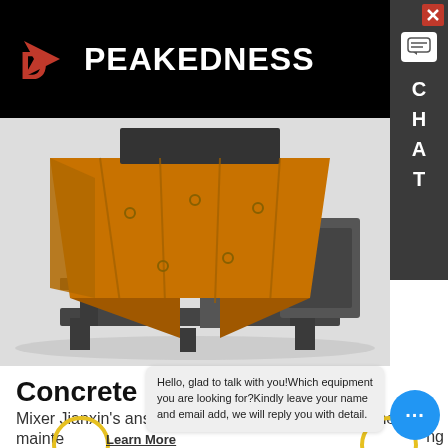PEAKEDNESS
[Figure (photo): 3D render of an industrial concrete plant aggregate bin/hopper component, orange/amber colored metal structure with dark grey steel frame and support legs, vibratory feeder unit]
Concrete plant - Posts
Mixer Jianxin's answer: Many friends will consider the mainte... ng
Hello, glad to talk with you!Which equipment you are looking for?Kindly leave your name and email add, we will reply you with detail.
Learn More